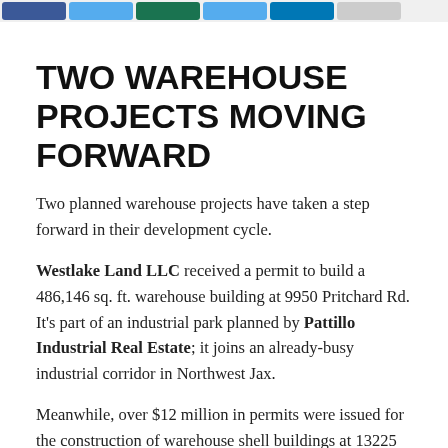[Social share buttons: Facebook, Twitter, Google+, Pinterest, LinkedIn, Email]
TWO WAREHOUSE PROJECTS MOVING FORWARD
Two planned warehouse projects have taken a step forward in their development cycle.
Westlake Land LLC received a permit to build a 486,146 sq. ft. warehouse building at 9950 Pritchard Rd. It's part of an industrial park planned by Pattillo Industrial Real Estate; it joins an already-busy industrial corridor in Northwest Jax.
Meanwhile, over $12 million in permits were issued for the construction of warehouse shell buildings at 13225 Vantage Way as part of the planned Freebird Commerce Center. The industrial complex is in North